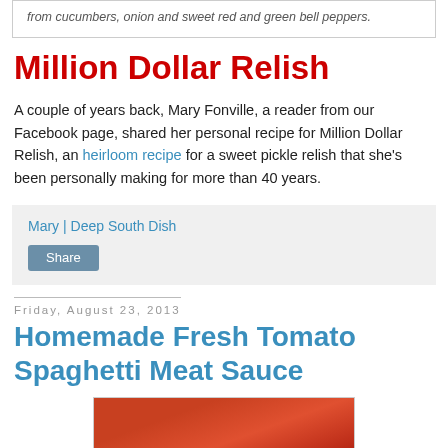from cucumbers, onion and sweet red and green bell peppers.
Million Dollar Relish
A couple of years back, Mary Fonville, a reader from our Facebook page, shared her personal recipe for Million Dollar Relish, an heirloom recipe for a sweet pickle relish that she's been personally making for more than 40 years.
Mary | Deep South Dish
Share
Friday, August 23, 2013
Homemade Fresh Tomato Spaghetti Meat Sauce
[Figure (photo): Photo of tomato spaghetti meat sauce, reddish-orange in color]